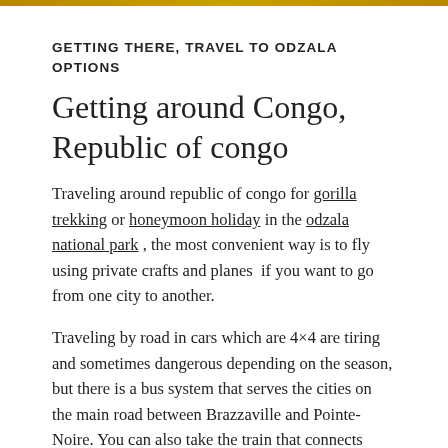GETTING THERE, TRAVEL TO ODZALA OPTIONS
Getting around Congo, Republic of congo
Traveling around republic of congo for gorilla trekking or honeymoon holiday in the odzala national park , the most convenient way is to fly using private crafts and planes if you want to go from one city to another.
Traveling by road in cars which are 4×4 are tiring and sometimes dangerous depending on the season, but there is a bus system that serves the cities on the main road between Brazzaville and Pointe-Noire. You can also take the train that connects these two cities. For your travels in the cities you will find taxis and buses, and also